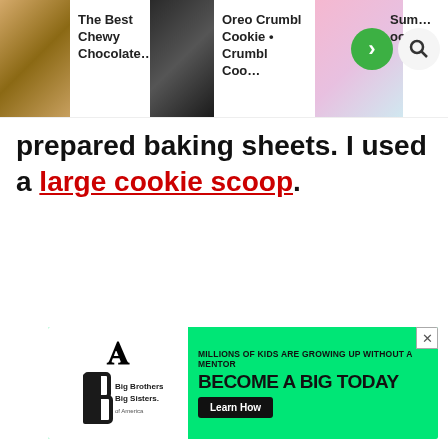[Figure (screenshot): Website navigation bar showing three recipe card thumbnails: 'The Best Chewy Chocolate...', 'Oreo Crumbl Cookie • Crumbl Coo...', and a third partially visible card, with green next-arrow button and search icon]
prepared baking sheets. I used a large cookie scoop.
[Figure (other): Advertisement banner for Big Brothers Big Sisters: 'MILLIONS OF KIDS ARE GROWING UP WITHOUT A MENTOR. BECOME A BIG TODAY' with Learn How button]
[Figure (other): Heart/like button (outline) and green share button on left side]
[Figure (other): What's Next card: 'Crumbl Sugar Cookie Recipe' on green pill-shaped banner with thumbnail image]
[Figure (other): Advertisement banner: 'It's time to talk about Alzheimer's.' with LEARN MORE button and Alzheimer's Association logo]